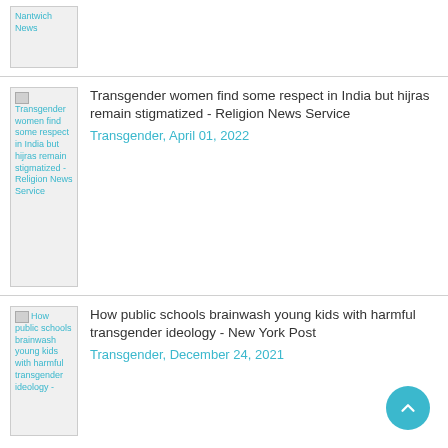Nantwich News
Transgender women find some respect in India but hijras remain stigmatized - Religion News Service
Transgender, April 01, 2022
How public schools brainwash young kids with harmful transgender ideology - New York Post
Transgender, December 24, 2021